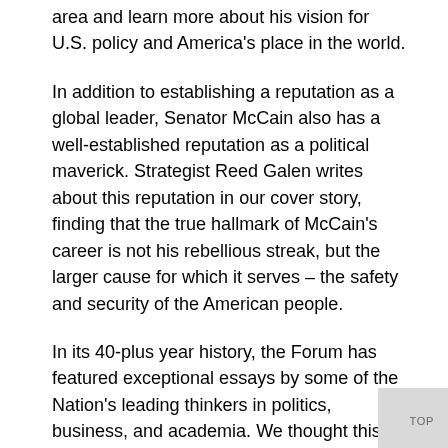area and learn more about his vision for U.S. policy and America's place in the world.
In addition to establishing a reputation as a global leader, Senator McCain also has a well-established reputation as a political maverick. Strategist Reed Galen writes about this reputation in our cover story, finding that the true hallmark of McCain's career is not his rebellious streak, but the larger cause for which it serves – the safety and security of the American people.
In its 40-plus year history, the Forum has featured exceptional essays by some of the Nation's leading thinkers in politics, business, and academia. We thought this would be a good occasion to reprint some of the more recent ones. The essays and interviews in this “Best of the Forum” collection address fiscal restraint, tax reform, health care, and other issues our party – and our next President – will have to deal with in the coming